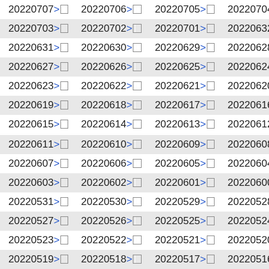| 20220707>□ | 20220706>□ | 20220705>□ | 20220704>□ |
| 20220703>□ | 20220702>□ | 20220701>□ | 20220632>□ |
| 20220631>□ | 20220630>□ | 20220629>□ | 20220628>□ |
| 20220627>□ | 20220626>□ | 20220625>□ | 20220624>□ |
| 20220623>□ | 20220622>□ | 20220621>□ | 20220620>□ |
| 20220619>□ | 20220618>□ | 20220617>□ | 20220616>□ |
| 20220615>□ | 20220614>□ | 20220613>□ | 20220612>□ |
| 20220611>□ | 20220610>□ | 20220609>□ | 20220608>□ |
| 20220607>□ | 20220606>□ | 20220605>□ | 20220604>□ |
| 20220603>□ | 20220602>□ | 20220601>□ | 20220600>□ |
| 20220531>□ | 20220530>□ | 20220529>□ | 20220528>□ |
| 20220527>□ | 20220526>□ | 20220525>□ | 20220524>□ |
| 20220523>□ | 20220522>□ | 20220521>□ | 20220520>□ |
| 20220519>□ | 20220518>□ | 20220517>□ | 20220516>□ |
| 20220515>□ | 20220514>□ | 20220513>□ | 20220512>□ |
| 20220511>□ | 20220510>□ | 20220509>□ | 20220508>□ |